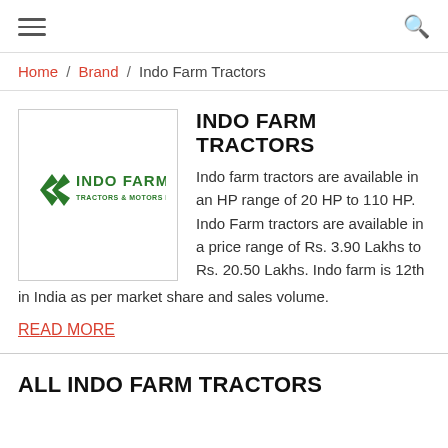≡  🔍
Home / Brand / Indo Farm Tractors
[Figure (logo): Indo Farm Tractors and Motors Ltd. logo with green chevron arrows and green text]
INDO FARM TRACTORS
Indo farm tractors are available in an HP range of 20 HP to 110 HP. Indo Farm tractors are available in a price range of Rs. 3.90 Lakhs to Rs. 20.50 Lakhs. Indo farm is 12th in India as per market share and sales volume.
READ MORE
ALL INDO FARM TRACTORS